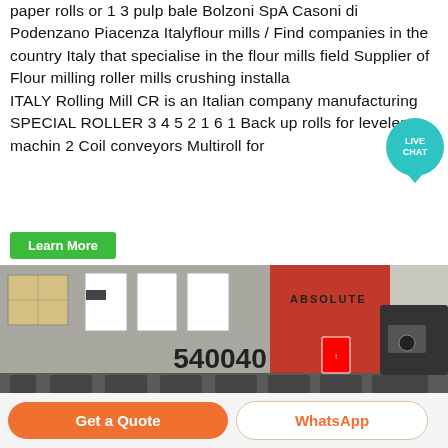paper rolls or 1 3 pulp bale Bolzoni SpA Casoni di Podenzano Piacenza Italyflour mills / Find companies in the country Italy that specialise in the flour mills field Supplier of Flour milling roller mills crushing installations ITALY Rolling Mill CR is an Italian company manufacturing SPECIAL ROLLER 3 4 5 2 1 6 1 Back up rolls for leveler machin 2 Coil conveyors Multiroll for
[Figure (other): Live Chat bubble icon, teal/cyan circle with LIVE CHAT text]
Learn More
[Figure (photo): Industrial factory scene: worker in red hard hat, blue and yellow vest standing next to large machinery labeled 540040. Papers posted on wall behind. Red machine with ABSOLUTE text visible. Control panel on right.]
Get a Quote
WhatsApp